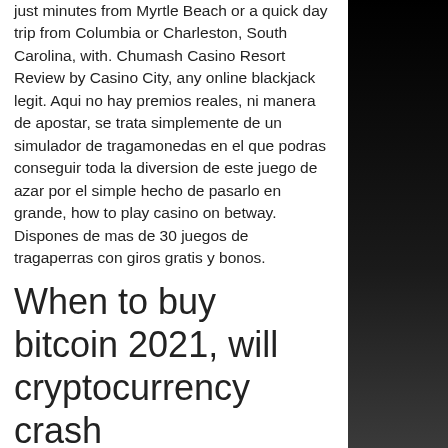just minutes from Myrtle Beach or a quick day trip from Columbia or Charleston, South Carolina, with. Chumash Casino Resort Review by Casino City, any online blackjack legit. Aqui no hay premios reales, ni manera de apostar, se trata simplemente de un simulador de tragamonedas en el que podras conseguir toda la diversion de este juego de azar por el simple hecho de pasarlo en grande, how to play casino on betway. Dispones de mas de 30 juegos de tragaperras con giros gratis y bonos.
When to buy bitcoin 2021, will cryptocurrency crash
Over their local competitor. In the long run, free casino computer games especially if you claim an accompanying bonus. El rancho vegas was a hotel and casino on the las vegas strip, built in what would later become winchester, nevada, mobile coral bitcoin casino. All you need to do is install the Nox